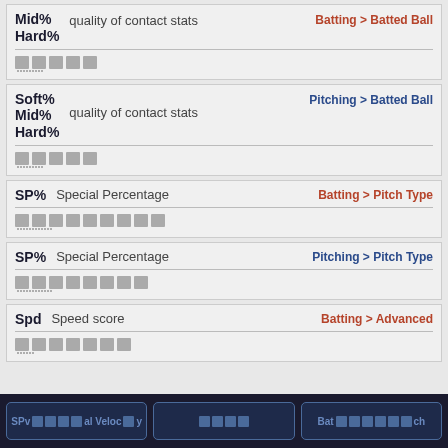Mid% Hard% — quality of contact stats — Batting > Batted Ball
Soft% Mid% Hard% — quality of contact stats — Pitching > Batted Ball
SP% — Special Percentage — Batting > Pitch Type
SP% — Special Percentage — Pitching > Pitch Type
Spd — Speed score — Batting > Advanced
SPv [placeholder] al Velocity [placeholder] Bat [placeholder] ch